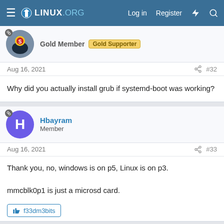LINUX.ORG — Log in  Register
Gold Member  Gold Supporter
Aug 16, 2021  #32
Why did you actually install grub if systemd-boot was working?
Hbayram
Member
Aug 16, 2021  #33
Thank you, no, windows is on p5, Linux is on p3.

mmcblk0p1 is just a microsd card.
f33dm3bits
Hbayram